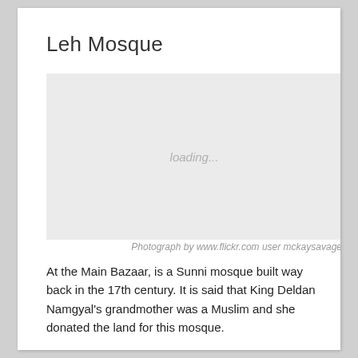Leh Mosque
[Figure (photo): Loading placeholder image box for Leh Mosque photograph, shown as a light gray rectangle with 'loading...' text centered.]
Photograph by www.flickr.com user mckaysavage
At the Main Bazaar, is a Sunni mosque built way back in the 17th century. It is said that King Deldan Namgyal's grandmother was a Muslim and she donated the land for this mosque.